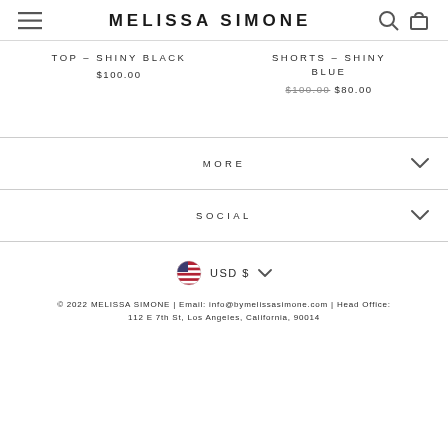MELISSA SIMONE
TOP - SHINY BLACK $100.00
SHORTS - SHINY BLUE $100.00 $80.00
MORE
SOCIAL
USD $
© 2022 MELISSA SIMONE | Email: info@bymelissasimone.com | Head Office: 112 E 7th St, Los Angeles, California, 90014